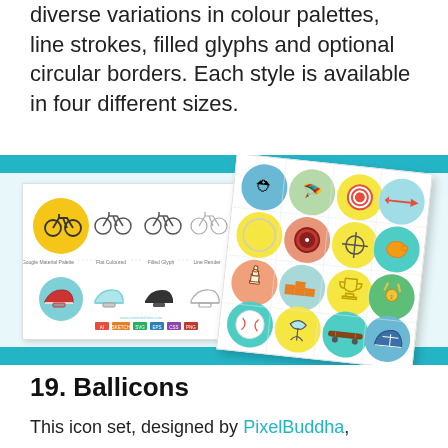diverse variations in colour palettes, line strokes, filled glyphs and optional circular borders. Each style is available in four different sizes.
[Figure (illustration): Two overlapping icon set preview sheets on a teal-banded background. Left sheet shows bicycle and helmet icons in four styles: Google Material Palette, Flat Coloured, Filled Glyph, Line Render. Right sheet (rotated) shows a 4x4 grid of circular sport icons including helmet, parachute, target, cycling, whistle, crosshair, trophy, medal, baseball, badminton, skateboard.]
19. Ballicons
This icon set, designed by PixelBuddha,